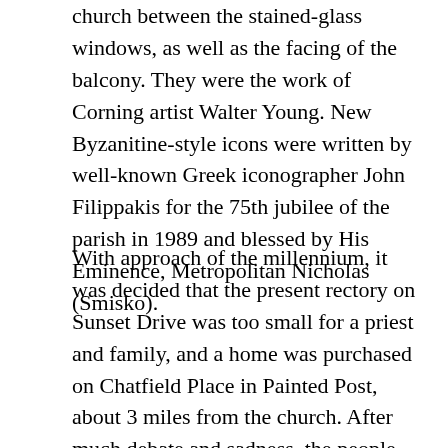church between the stained-glass windows, as well as the facing of the balcony. They were the work of Corning artist Walter Young. New Byzanitine-style icons were written by well-known Greek iconographer John Filippakis for the 75th jubilee of the parish in 1989 and blessed by His Eminence, Metropolitan Nicholas (Smisko).
With approach of the millennium, it was decided that the present rectory on Sunset Drive was too small for a priest and family, and a home was purchased on Chatfield Place in Painted Post, about 3 miles from the church. After much debate and sadness, the people of Saint Mary's parish began seriously to plan relocation of the church. The problems that prompted this decision included the lack of parking space, the 40 steps up